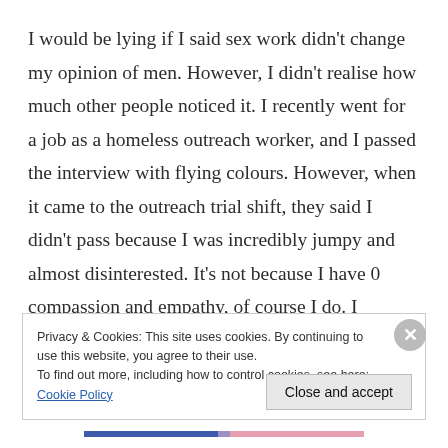I would be lying if I said sex work didn't change my opinion of men. However, I didn't realise how much other people noticed it. I recently went for a job as a homeless outreach worker, and I passed the interview with flying colours. However, when it came to the outreach trial shift, they said I didn't pass because I was incredibly jumpy and almost disinterested. It's not because I have 0 compassion and empathy, of course I do. I realised that on reflection, I shut off around men and in fact, they do scare me, particularly when they're
Privacy & Cookies: This site uses cookies. By continuing to use this website, you agree to their use.
To find out more, including how to control cookies, see here: Cookie Policy
Close and accept